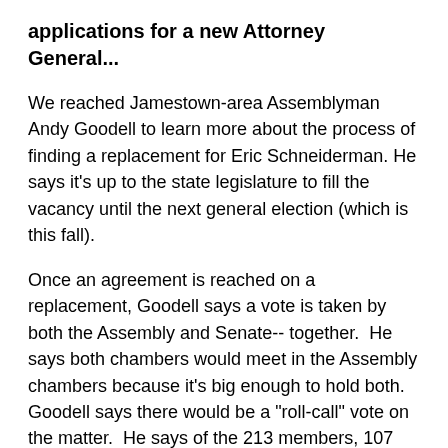applications for a new Attorney General...
We reached Jamestown-area Assemblyman Andy Goodell to learn more about the process of finding a replacement for Eric Schneiderman. He says it's up to the state legislature to fill the vacancy until the next general election (which is this fall).
Once an agreement is reached on a replacement, Goodell says a vote is taken by both the Assembly and Senate-- together.  He says both chambers would meet in the Assembly chambers because it's big enough to hold both.  Goodell says there would be a "roll-call" vote on the matter.  He says of the 213 members, 107 votes are needed to appoint a replacement.  He expects the process to move "fairly quickly," but he adds, nothing is entirely predictable in the state legislature. The State's solicitor general is currently serving as the Acting AG.